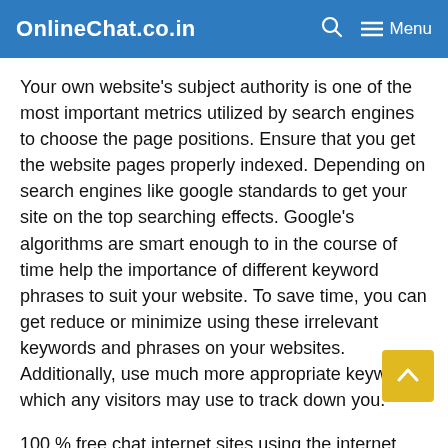OnlineChai.co.in  Menu
Your own website's subject authority is one of the most important metrics utilized by search engines to choose the page positions. Ensure that you get the website pages properly indexed. Depending on search engines like google standards to get your site on the top searching effects. Google's algorithms are smart enough to in the course of time help the importance of different keyword phrases to suit your website. To save time, you can get reduce or minimize using these irrelevant keywords and phrases on your websites. Additionally, use much more appropriate keywords, which any visitors may use to track down you.
100 % free chat internet sites using the internet